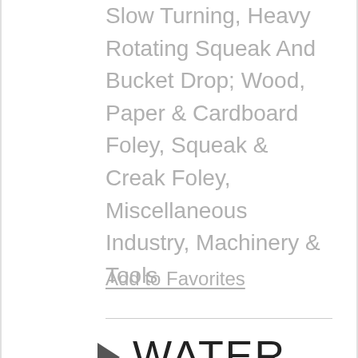Slow Turning, Heavy Rotating Squeak And Bucket Drop; Wood, Paper & Cardboard Foley, Squeak & Creak Foley, Miscellaneous Industry, Machinery & Tools
Add to Favorites
► WATER,